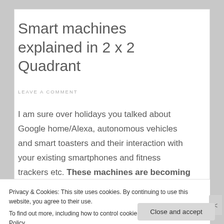Smart machines explained in 2 x 2 Quadrant
LEAVE A COMMENT
I am sure over holidays you talked about Google home/Alexa, autonomous vehicles and smart toasters and their interaction with your existing smartphones and fitness trackers etc. These machines are becoming integral part of our daily life.
Privacy & Cookies: This site uses cookies. By continuing to use this website, you agree to their use.
To find out more, including how to control cookies, see here: Cookie Policy